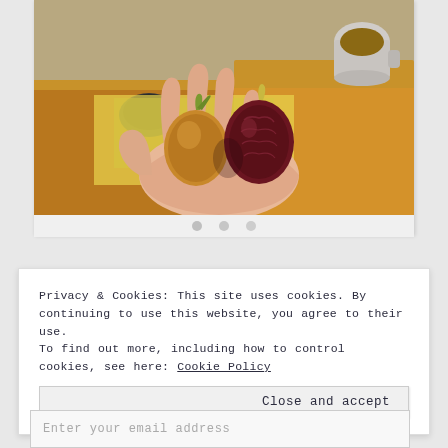[Figure (photo): A hand holding two figs — one green/brown and one dark red/purple — against a blurred background showing a wooden desk with a mouse, colorful papers, and a coffee mug.]
Privacy & Cookies: This site uses cookies. By continuing to use this website, you agree to their use.
To find out more, including how to control cookies, see here: Cookie Policy
Close and accept
Enter your email address